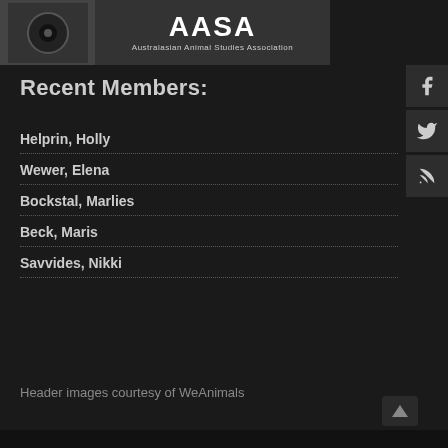[Figure (logo): AASA - Australasian Animal Studies Association logo with animal eye image on left and white text on dark background]
Recent Members:
Helprin, Holly
Wewer, Elena
Bockstal, Marlies
Beck, Maris
Savvides, Nikki
Header images courtesy of WeAnimals